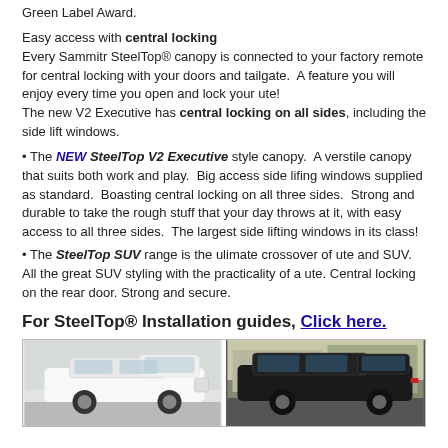Green Label Award.
Easy access with central locking
Every Sammitr SteelTop® canopy is connected to your factory remote for central locking with your doors and tailgate.  A feature you will enjoy every time you open and lock your ute!
The new V2 Executive has central locking on all sides, including the side lift windows.
• The NEW SteelTop V2 Executive style canopy.  A verstile canopy that suits both work and play.  Big access side lifing windows supplied as standard.  Boasting central locking on all three sides.  Strong and durable to take the rough stuff that your day throws at it, with easy access to all three sides.  The largest side lifting windows in its class!
• The SteelTop SUV range is the ulimate crossover of ute and SUV.  All the great SUV styling with the practicality of a ute. Central locking on the rear door. Strong and secure.
For SteelTop® Installation guides, Click here.
[Figure (photo): Two photos side by side: left shows a white ute with a SteelTop canopy, right shows a dark/black ute with a SteelTop SUV canopy in a parking area.]